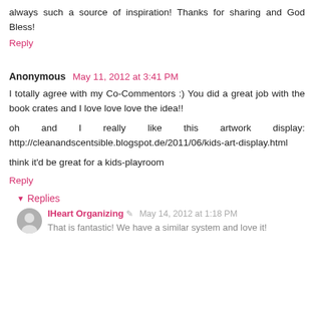always such a source of inspiration! Thanks for sharing and God Bless!
Reply
Anonymous  May 11, 2012 at 3:41 PM
I totally agree with my Co-Commentors :) You did a great job with the book crates and I love love love the idea!!
oh and I really like this artwork display: http://cleanandscentsible.blogspot.de/2011/06/kids-art-display.html
think it'd be great for a kids-playroom
Reply
Replies
IHeart Organizing  May 14, 2012 at 1:18 PM
That is fantastic! We have a similar system and love it!